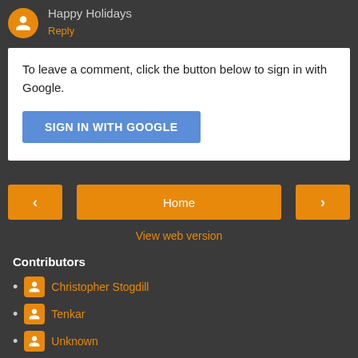Happy Holidays
Reply
To leave a comment, click the button below to sign in with Google.
[Figure (screenshot): SIGN IN WITH GOOGLE button, blue background, white uppercase text]
[Figure (screenshot): Navigation bar with left arrow, Home button, right arrow (all orange)]
View web version
Contributors
Christopher Stogdill
Tenkar
Unknown
Powered by Blogger.